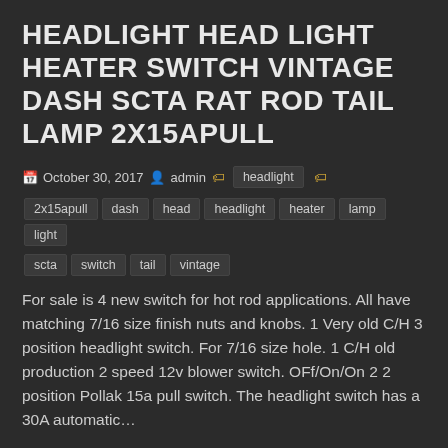HEADLIGHT HEAD LIGHT HEATER SWITCH VINTAGE DASH SCTA RAT ROD TAIL LAMP 2X15APULL
October 30, 2017  admin  headlight  2x15apull  dash  head  headlight  heater  lamp  light  scta  switch  tail  vintage
For sale is 4 new switch for hot rod applications. All have matching 7/16 size finish nuts and knobs. 1 Very old C/H 3 position headlight switch. For 7/16 size hole. 1 C/H old production 2 speed 12v blower switch. OFf/On/On 2 2 position Pollak 15a pull switch. The headlight switch has a 30A automatic…
READ MORE »